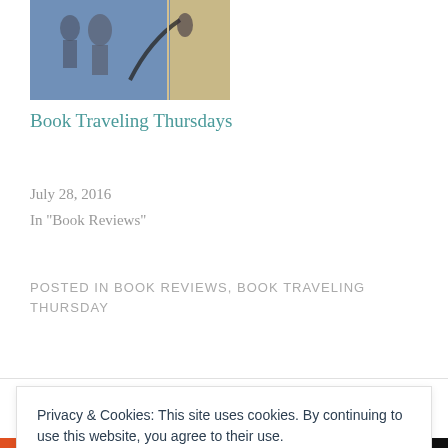[Figure (photo): Partial view of a book cover or theatrical scene with figures and a dark curved element on a blue-purple background]
Book Traveling Thursdays
July 28, 2016
In "Book Reviews"
POSTED IN BOOK REVIEWS, BOOK TRAVELING THURSDAY
< PREVIOUS
NEXT >
Privacy & Cookies: This site uses cookies. By continuing to use this website, you agree to their use.
To find out more, including how to control cookies, see here:
Cookie Policy
Close and accept